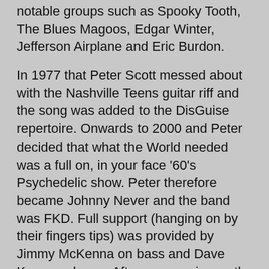notable groups such as Spooky Tooth, The Blues Magoos, Edgar Winter, Jefferson Airplane and Eric Burdon.
In 1977 that Peter Scott messed about with the Nashville Teens guitar riff and the song was added to the DisGuise repertoire. Onwards to 2000 and Peter decided that what the World needed was a full on, in your face '60's Psychedelic show. Peter therefore became Johnny Never and the band was FKD. Full support (hanging on by their fingers tips) was provided by Jimmy McKenna on bass and Dave Knox on drums. After a mere six months of being told to turn down it was realised that The World wasn't actual ready for a return to this approach to live music, not however, before getting a bunch of their versions recorded live by Alex Morris at PigGen Rehearsal Studios. This is one of them.
35 J B's Body – The Skapones